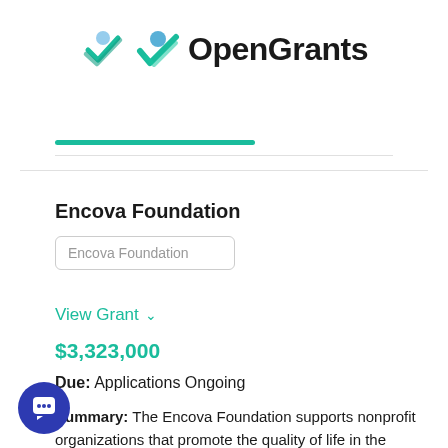[Figure (logo): OpenGrants logo with teal checkmark/person icon and bold text 'OpenGrants']
Encova Foundation
Encova Foundation
View Grant
$3,323,000
Due: Applications Ongoing
Summary: The Encova Foundation supports nonprofit organizations that promote the quality of life in the communities the company serves,